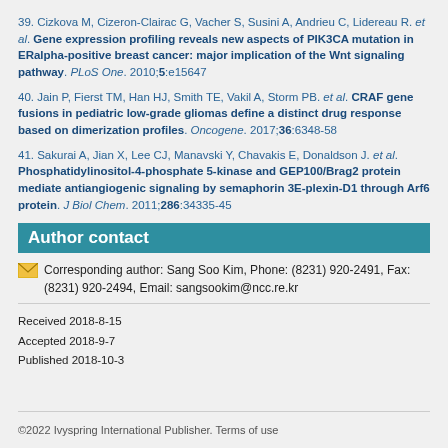39. Cizkova M, Cizeron-Clairac G, Vacher S, Susini A, Andrieu C, Lidereau R. et al. Gene expression profiling reveals new aspects of PIK3CA mutation in ERalpha-positive breast cancer: major implication of the Wnt signaling pathway. PLoS One. 2010;5:e15647
40. Jain P, Fierst TM, Han HJ, Smith TE, Vakil A, Storm PB. et al. CRAF gene fusions in pediatric low-grade gliomas define a distinct drug response based on dimerization profiles. Oncogene. 2017;36:6348-58
41. Sakurai A, Jian X, Lee CJ, Manavski Y, Chavakis E, Donaldson J. et al. Phosphatidylinositol-4-phosphate 5-kinase and GEP100/Brag2 protein mediate antiangiogenic signaling by semaphorin 3E-plexin-D1 through Arf6 protein. J Biol Chem. 2011;286:34335-45
Author contact
Corresponding author: Sang Soo Kim, Phone: (8231) 920-2491, Fax: (8231) 920-2494, Email: sangsookim@ncc.re.kr
Received 2018-8-15
Accepted 2018-9-7
Published 2018-10-3
©2022 Ivyspring International Publisher. Terms of use